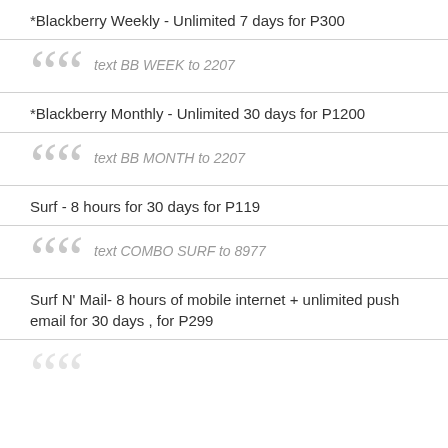*Blackberry Weekly - Unlimited 7 days for P300
text BB WEEK to 2207
*Blackberry Monthly - Unlimited 30 days for P1200
text BB MONTH to 2207
Surf - 8 hours for 30 days for P119
text COMBO SURF to 8977
Surf N' Mail- 8 hours of mobile internet + unlimited push email for 30 days , for P299